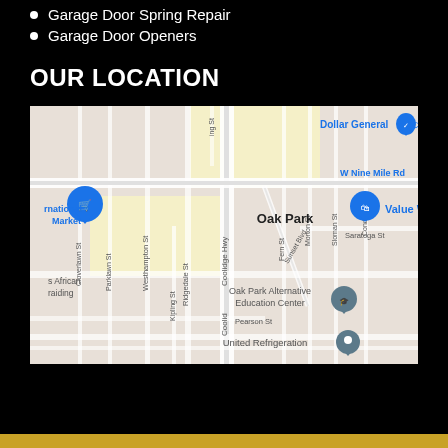Garage Door Spring Repair
Garage Door Openers
OUR LOCATION
[Figure (map): Google Maps view of Oak Park, Michigan area showing Coolidge Hwy, W Nine Mile Rd, Dollar General, Value World, International Market, Oak Park Alternative Education Center, United Refrigeration, and surrounding streets.]
Copyright 2022 – Best and Fast Garage Door Services LLC